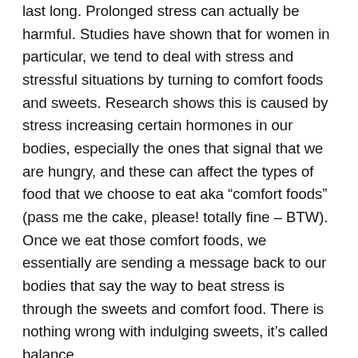last long. Prolonged stress can actually be harmful. Studies have shown that for women in particular, we tend to deal with stress and stressful situations by turning to comfort foods and sweets. Research shows this is caused by stress increasing certain hormones in our bodies, especially the ones that signal that we are hungry, and these can affect the types of food that we choose to eat aka “comfort foods” (pass me the cake, please! totally fine – BTW). Once we eat those comfort foods, we essentially are sending a message back to our bodies that say the way to beat stress is through the sweets and comfort food. There is nothing wrong with indulging sweets, it’s called balance.
Stress is a process that can be controlled – it’s like a light switch that you can learn to turn on and off. Here are some tips on how you can better manage your